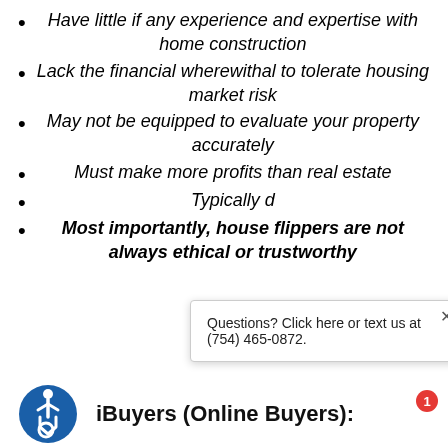Have little if any experience and expertise with home construction
Lack the financial wherewithal to tolerate housing market risk
May not be equipped to evaluate your property accurately
Must make more profits than real estate
Typically d[obscured by popup]
Most importantly, house flippers are not always ethical or trustworthy
[Figure (logo): Accessibility icon — blue circle with wheelchair user symbol in white]
iBuyers (Online Buyers):